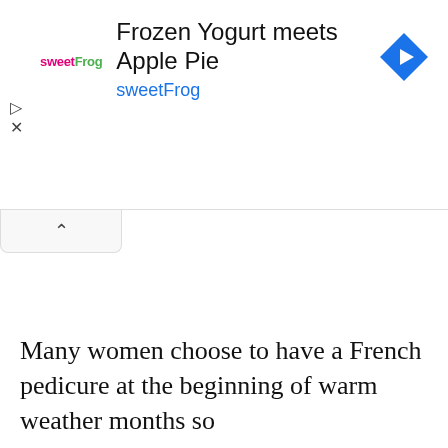[Figure (other): sweetFrog advertisement banner: logo on left reading 'sweetFrog', headline 'Frozen Yogurt meets Apple Pie', brand name 'sweetFrog' in blue, blue diamond navigation icon on right, play and close control icons on far left]
Many women choose to have a French pedicure at the beginning of warm weather months so